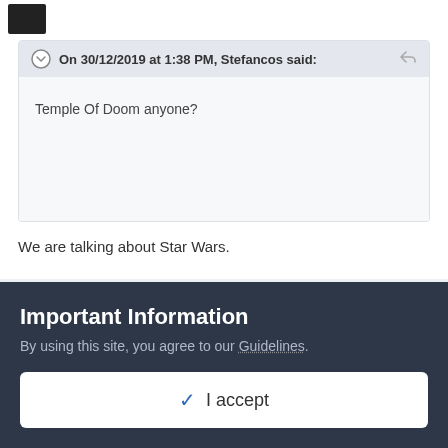On 30/12/2019 at 1:38 PM, Stefancos said:
Temple Of Doom anyone?
We are talking about Star Wars.
Smeltington  +1,004
Important Information
By using this site, you agree to our Guidelines.
✓  I accept